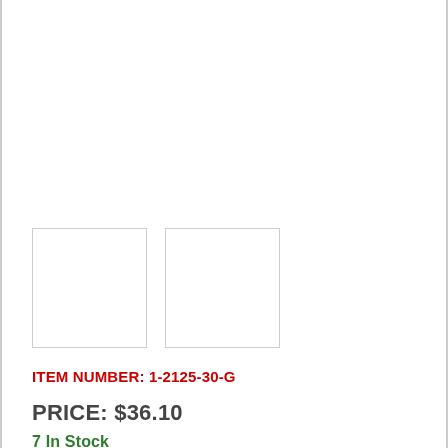[Figure (photo): Two empty thumbnail image boxes side by side, outlined with light gray borders]
ITEM NUMBER: 1-2125-30-G
PRICE: $36.10
7 In Stock